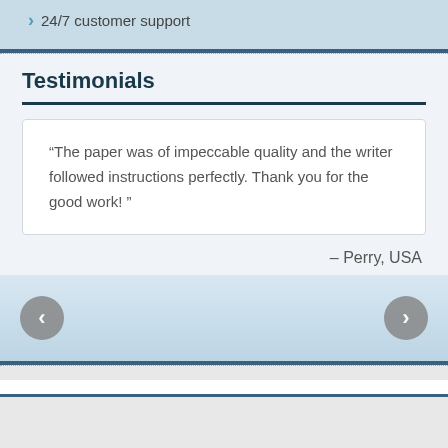24/7 customer support
Testimonials
“The paper was of impeccable quality and the writer followed instructions perfectly. Thank you for the good work! ”
– Perry, USA